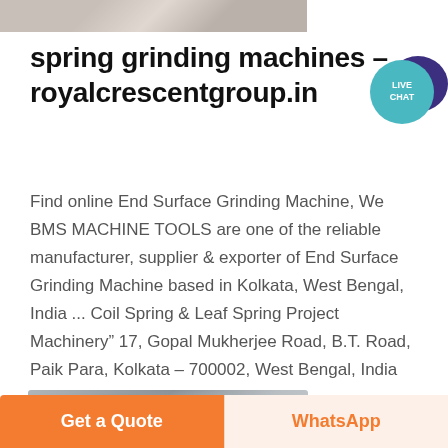[Figure (photo): Partial view of a grinding machine component, top crop]
spring grinding machines – royalcrescentgroup.in
[Figure (other): Live Chat speech bubble icon in teal and dark purple]
Find online End Surface Grinding Machine, We BMS MACHINE TOOLS are one of the reliable manufacturer, supplier & exporter of End Surface Grinding Machine based in Kolkata, West Bengal, India ... Coil Spring & Leaf Spring Project Machinery" 17, Gopal Mukherjee Road, B.T. Road, Paik Para, Kolkata – 700002, West Bengal, India
[Figure (photo): Industrial grinding machine with cylindrical drum, partial bottom crop]
Get a Quote
WhatsApp